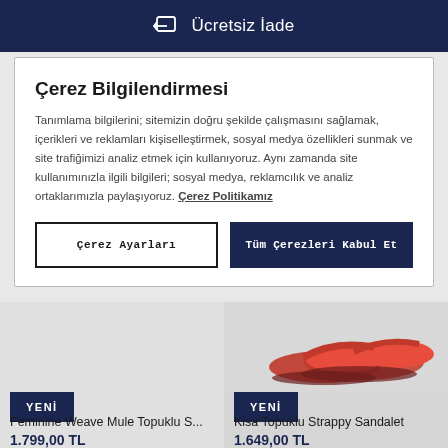Ücretsiz İade
Çerez Bilgilendirmesi
Tanımlama bilgilerini; sitemizin doğru şekilde çalışmasını sağlamak, içerikleri ve reklamları kişiselleştirmek, sosyal medya özellikleri sunmak ve site trafiğimizi analiz etmek için kullanıyoruz. Aynı zamanda site kullanımınızla ilgili bilgileri; sosyal medya, reklamcılık ve analiz ortaklarımızla paylaşıyoruz. Çerez Politikamız
Çerez Ayarları
Tüm Çerezleri Kabul Et
[Figure (photo): Red sandals/shoes product photo on light background]
YENİ
YENİ
Feminine Weave Mule Topuklu S...
1.799,00 TL
Kisa Topuklu Strappy Sandalet
1.649,00 TL